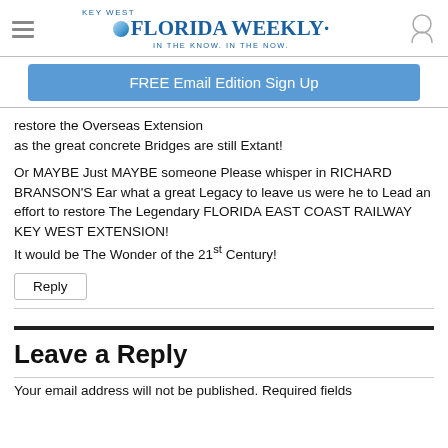Key West Florida Weekly — IN THE KNOW. IN THE NOW.
[Figure (other): FREE Email Edition Sign Up button (blue rounded rectangle)]
restore the Overseas Extension as the great concrete Bridges are still Extant!
Or MAYBE Just MAYBE someone Please whisper in RICHARD BRANSON'S Ear what a great Legacy to leave us were he to Lead an effort to restore The Legendary FLORIDA EAST COAST RAILWAY KEY WEST EXTENSION! It would be The Wonder of the 21st Century!
Reply
Leave a Reply
Your email address will not be published. Required fields